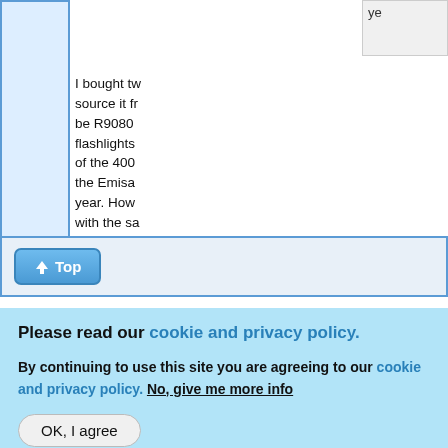ye
I bought tw source it f be R9080 flashlights of the 400 the Emisa year. How with the sa yellow/ora probably f
[Figure (screenshot): Top button with upward arrow icon and 'Top' label, styled in blue gradient]
Please read our cookie and privacy policy.
By continuing to use this site you are agreeing to our cookie and privacy policy. No, give me more info
OK, I agree